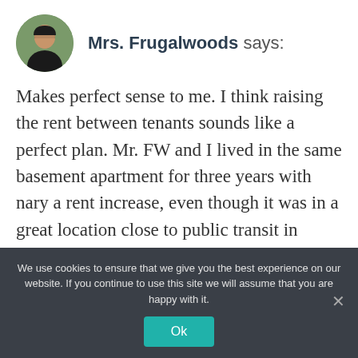Mrs. Frugalwoods says:
Makes perfect sense to me. I think raising the rent between tenants sounds like a perfect plan. Mr. FW and I lived in the same basement apartment for three years with nary a rent increase, even though it was in a great location close to public transit in Cambridge. Same deal with the row house we rented in Washington, DC–two years without a rent increase. In both instances, we were clean, quiet, and pet-free &
We use cookies to ensure that we give you the best experience on our website. If you continue to use this site we will assume that you are happy with it.